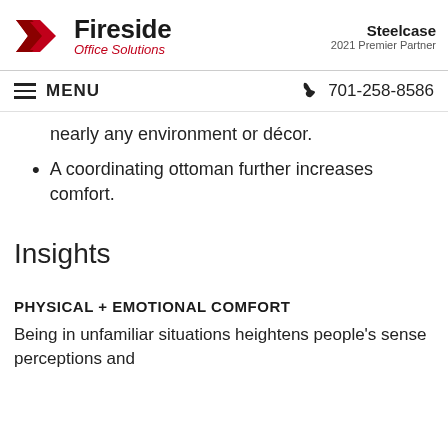Fireside Office Solutions | Steelcase 2021 Premier Partner
MENU | 701-258-8586
nearly any environment or décor.
A coordinating ottoman further increases comfort.
Insights
PHYSICAL + EMOTIONAL COMFORT
Being in unfamiliar situations heightens people's sense perceptions and